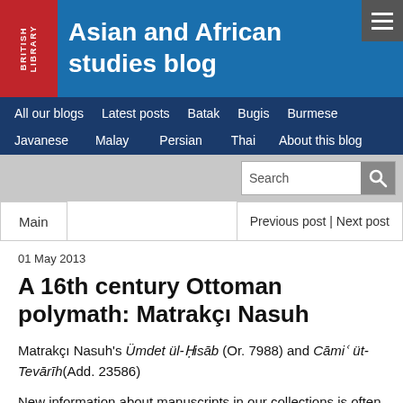Asian and African studies blog
All our blogs   Latest posts   Batak   Bugis   Burmese   Javanese   Malay   Persian   Thai   About this blog
01 May 2013
A 16th century Ottoman polymath: Matrakçı Nasuh
Matrakçı Nasuh's Ümdet ül-Ḥisāb (Or. 7988) and Cāmiʿ üt-Tevārīh(Add. 23586)
New information about manuscripts in our collections is often